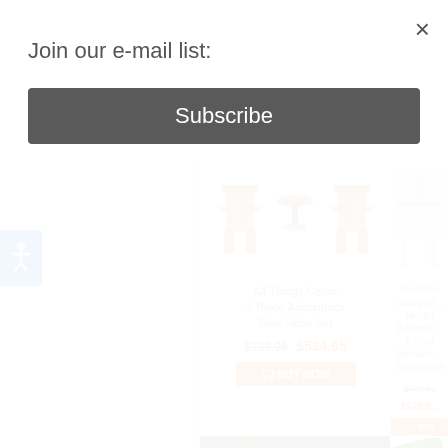Join our e-mail list:
Subscribe
×
[Figure (photo): All Things Cedar 3-Piece Adirondack Side Table Set - wooden Adirondack chairs with side table]
All Things Cedar
3-Piece Adirondack
Side Table Set
$739.95  $534.95
BUY NOW
[Figure (photo): Gladiator GarageWorks Height Adjustable 6-Foot Hardwood Workbench - partially visible]
Gladiator GarageW...
Height Adjustab...
6-Foot Hardwoo...
Workbench
$849.99  $529.9...
BUY NOW
[Figure (photo): Gray rubber coin mat flooring with FREE SHIPPING badge]
[Figure (photo): Greenhouse structure with FREE SHIPPING badge, partially visible]